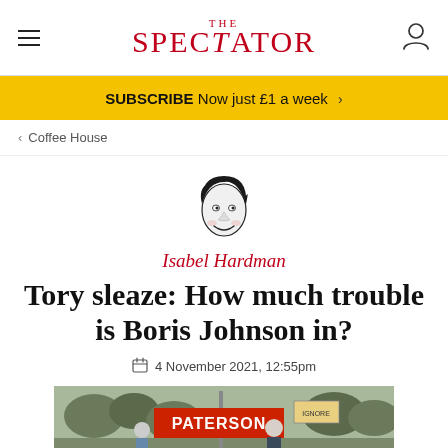THE SPECTATOR
SUBSCRIBE Now just £1 a week >
< Coffee House
[Figure (illustration): Caricature illustration of Isabel Hardman in black and white]
Isabel Hardman
Tory sleaze: How much trouble is Boris Johnson in?
4 November 2021, 12:55pm
[Figure (photo): Photograph showing protest signs including one reading PATERSON, outdoors scene with people]